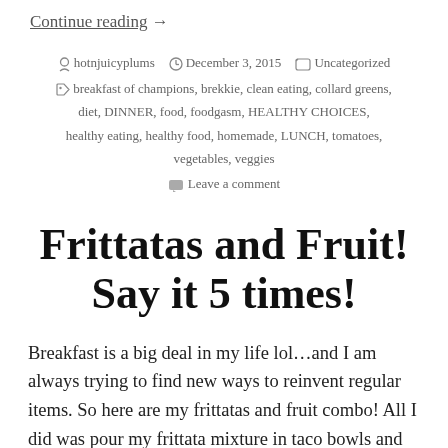Continue reading  →
by hotnjuicyplums   December 3, 2015   Uncategorized
breakfast of champions, brekkie, clean eating, collard greens, diet, DINNER, food, foodgasm, HEALTHY CHOICES, healthy eating, healthy food, homemade, LUNCH, tomatoes, vegetables, veggies
Leave a comment
Frittatas and Fruit! Say it 5 times!
Breakfast is a big deal in my life lol…and I am always trying to find new ways to reinvent regular items. So here are my frittatas and fruit combo! All I did was pour my frittata mixture in taco bowls and cut some…